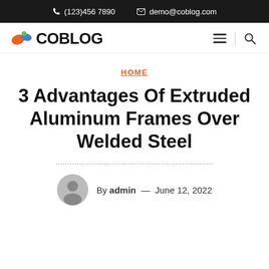(123)456 7890   demo@coblog.com
[Figure (logo): COBLOG logo with orange and blue splash icon]
HOME
3 Advantages Of Extruded Aluminum Frames Over Welded Steel
By admin — June 12, 2022